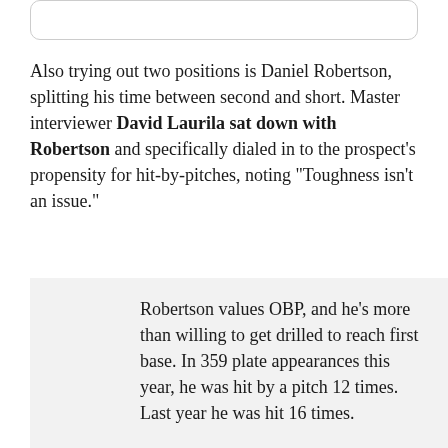[Figure (other): Top card/box element (rounded rectangle border)]
Also trying out two positions is Daniel Robertson, splitting his time between second and short. Master interviewer David Laurila sat down with Robertson and specifically dialed in to the prospect's propensity for hit-by-pitches, noting "Toughness isn't an issue."
Robertson values OBP, and he's more than willing to get drilled to reach first base. In 359 plate appearances this year, he was hit by a pitch 12 times. Last year he was hit 16 times.
"I wouldn't say I crowd the plate," responded Robertson, when I asked about his proclivity to get plunked. "I don't totally hug it. People ask, 'Why do you keep getting hit?' but it's just one of those things. I like to see the ball middle-away and drive it to the